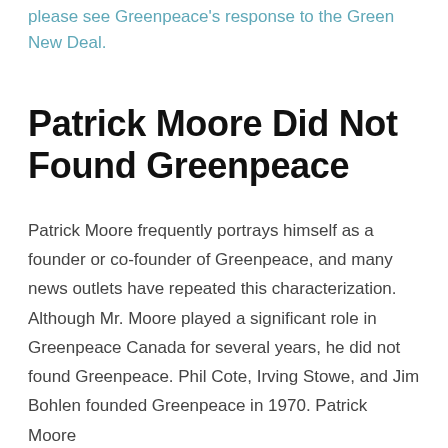please see Greenpeace's response to the Green New Deal.
Patrick Moore Did Not Found Greenpeace
Patrick Moore frequently portrays himself as a founder or co-founder of Greenpeace, and many news outlets have repeated this characterization. Although Mr. Moore played a significant role in Greenpeace Canada for several years, he did not found Greenpeace. Phil Cote, Irving Stowe, and Jim Bohlen founded Greenpeace in 1970. Patrick Moore